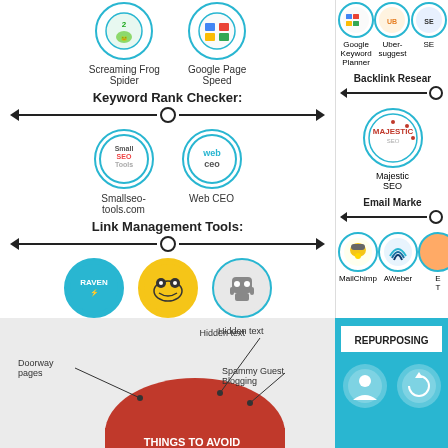[Figure (infographic): SEO tools infographic showing two columns. Left column: top tools (Screaming Frog Spider, Google Page Speed), Keyword Rank Checker section with Small SEO Tools and Web CEO, Link Management Tools section with Raven Tools, Buzz Stream, Moz. Right column: Google Keyword Planner, Ubersuggest, SE... Backlink Research section with Majestic SEO, Email Marketing section with MailChimp, AWeber. Bottom left: Things to Avoid diagram (red) with Hidden text, Spammy Guest Blogging, Doorway pages labels. Bottom right: REPURPOSING section (teal) with person and chart icons.]